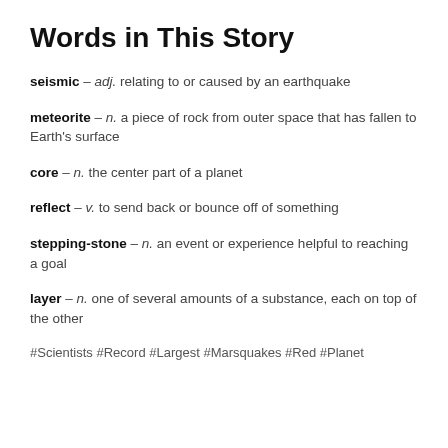Words in This Story
seismic – adj. relating to or caused by an earthquake
meteorite – n. a piece of rock from outer space that has fallen to Earth's surface
core – n. the center part of a planet
reflect – v. to send back or bounce off of something
stepping-stone – n. an event or experience helpful to reaching a goal
layer – n. one of several amounts of a substance, each on top of the other
#Scientists #Record #Largest #Marsquakes #Red #Planet